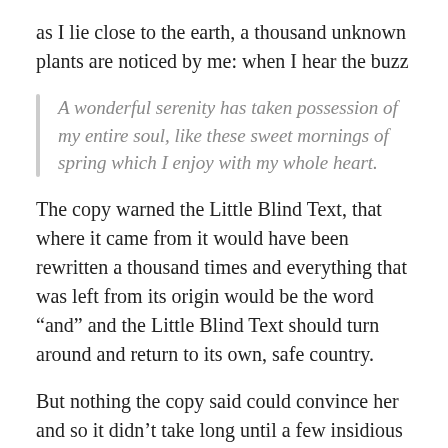as I lie close to the earth, a thousand unknown plants are noticed by me: when I hear the buzz
A wonderful serenity has taken possession of my entire soul, like these sweet mornings of spring which I enjoy with my whole heart.
The copy warned the Little Blind Text, that where it came from it would have been rewritten a thousand times and everything that was left from its origin would be the word “and” and the Little Blind Text should turn around and return to its own, safe country.
But nothing the copy said could convince her and so it didn’t take long until a few insidious Copy Writers ambushed her, made her drunk with Longe and Parole and dragged her into their agency, where they abused her for their projects again and again. And if she hasn’t been rewritten, then they are still using her.